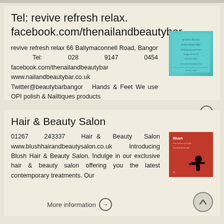Tel: revive refresh relax. facebook.com/thenailandbeautybar
revive refresh relax 66 Ballymaconnell Road, Bangor Tel: 028 9147 0454 facebook.com/thenailandbeautybar www.nailandbeautybar.co.uk Twitter@beautybarbangor Hands & Feet We use OPI polish & Nailtiques products
[Figure (photo): Teal/turquoise business card image for the Nail and Beauty Bar]
More information →
Hair & Beauty Salon
01267 243337 Hair & Beauty Salon www.blushhairandbeautysalon.co.uk Introducing Blush Hair & Beauty Salon. Indulge in our exclusive hair & beauty salon offering you the latest contemporary treatments. Our
[Figure (photo): Red Blush Hair & Beauty Salon advertisement image with silhouette]
More information →